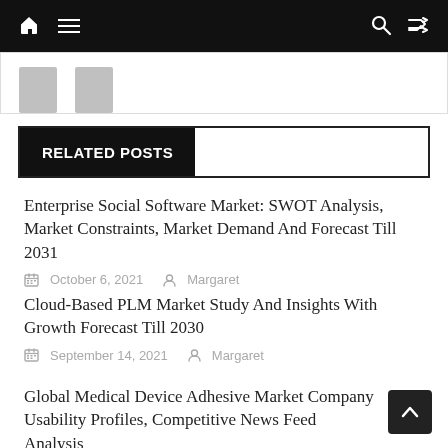Navigation bar with home, menu, search, and shuffle icons
[Figure (screenshot): Partial image strip showing two grey thumbnail placeholders]
RELATED POSTS
Enterprise Social Software Market: SWOT Analysis, Market Constraints, Market Demand And Forecast Till 2031
October 6, 2021  Margaret
Cloud-Based PLM Market Study And Insights With Growth Forecast Till 2030
September 14, 2021  Margaret
Global Medical Device Adhesive Market Company Usability Profiles, Competitive News Feed Analysis